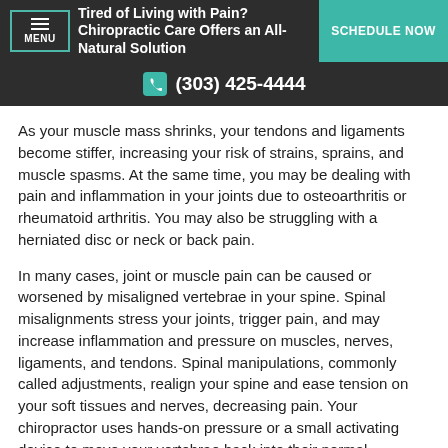Tired of Living with Pain? Chiropractic Care Offers an All-Natural Solution | MENU | SCHEDULE NOW
(303) 425-4444
As your muscle mass shrinks, your tendons and ligaments become stiffer, increasing your risk of strains, sprains, and muscle spasms. At the same time, you may be dealing with pain and inflammation in your joints due to osteoarthritis or rheumatoid arthritis. You may also be struggling with a herniated disc or neck or back pain.
In many cases, joint or muscle pain can be caused or worsened by misaligned vertebrae in your spine. Spinal misalignments stress your joints, trigger pain, and may increase inflammation and pressure on muscles, nerves, ligaments, and tendons. Spinal manipulations, commonly called adjustments, realign your spine and ease tension on your soft tissues and nerves, decreasing pain. Your chiropractor uses hands-on pressure or a small activating device to move your vertebrae back into their normal positions.
Spinal manipulation can be very helpful in easing neck pain, a